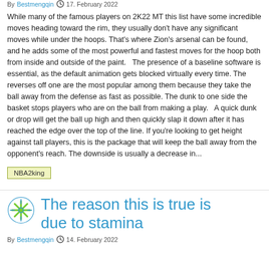By Bestmengqin  17. February 2022
While many of the famous players on 2K22 MT this list have some incredible moves heading toward the rim, they usually don't have any significant moves while under the hoops. That's where Zion's arsenal can be found, and he adds some of the most powerful and fastest moves for the hoop both from inside and outside of the paint.   The presence of a baseline software is essential, as the default animation gets blocked virtually every time. The reverses off one are the most popular among them because they take the ball away from the defense as fast as possible. The dunk to one side the basket stops players who are on the ball from making a play.   A quick dunk or drop will get the ball up high and then quickly slap it down after it has reached the edge over the top of the line. If you're looking to get height against tall players, this is the package that will keep the ball away from the opponent's reach. The downside is usually a decrease in...
NBA2king
The reason this is true is due to stamina
By Bestmengqin  14. February 2022